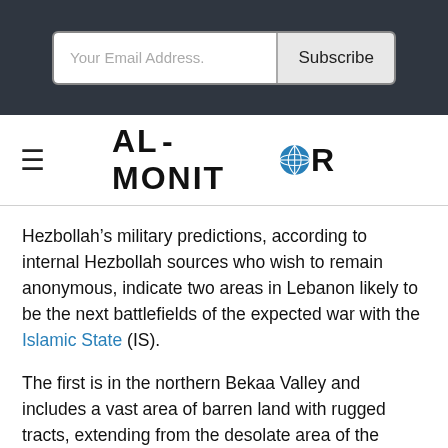Your Email Address.  Subscribe
[Figure (logo): AL-MONITOR logo with globe icon replacing the letter O]
Hezbollah’s military predictions, according to internal Hezbollah sources who wish to remain anonymous, indicate two areas in Lebanon likely to be the next battlefields of the expected war with the Islamic State (IS).
The first is in the northern Bekaa Valley and includes a vast area of barren land with rugged tracts, extending from the desolate area of the Lebanese Sunni town of Arsal, running south to the arid lands around the Shiite city of Baalbek